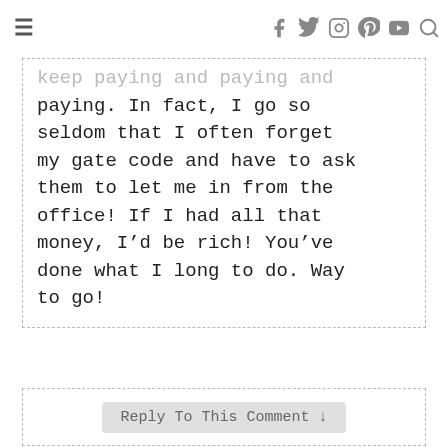≡  🐦 📷 🅿 ▶ 🔍
keep paying and paying and paying. In fact, I go so seldom that I often forget my gate code and have to ask them to let me in from the office! If I had all that money, I'd be rich! You've done what I long to do. Way to go!
Reply To This Comment ↓